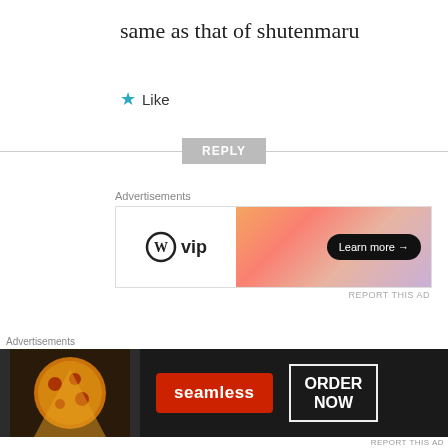same as that of shutenmaru
★ Like
REPLY
Advertisements
[Figure (other): WordPress VIP advertisement banner with gradient orange/pink background and Learn more button]
REPORT THIS AD
wahyuteguh
10 MAY, 2019 AT 9:48 PM
[Figure (logo): Blue geometric logo for wahyuteguh user avatar]
thank you for the good work
Advertisements
[Figure (other): Seamless food delivery advertisement banner with pizza image, ORDER NOW button on dark background]
REPORT THIS AD